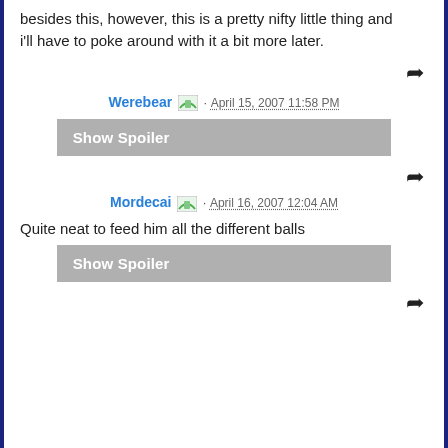besides this, however, this is a pretty nifty little thing and i'll have to poke around with it a bit more later.
Werebear · April 15, 2007 11:58 PM
Show Spoiler
Mordecai · April 16, 2007 12:04 AM
Quite neat to feed him all the different balls
Show Spoiler